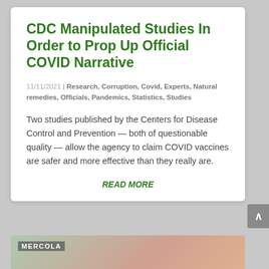CDC Manipulated Studies In Order to Prop Up Official COVID Narrative
11/11/2021 | Research, Corruption, Covid, Experts, Natural remedies, Officials, Pandemics, Statistics, Studies
Two studies published by the Centers for Disease Control and Prevention — both of questionable quality — allow the agency to claim COVID vaccines are safer and more effective than they really are.
READ MORE
[Figure (screenshot): Partial bottom card showing Mercola logo/label over an image]